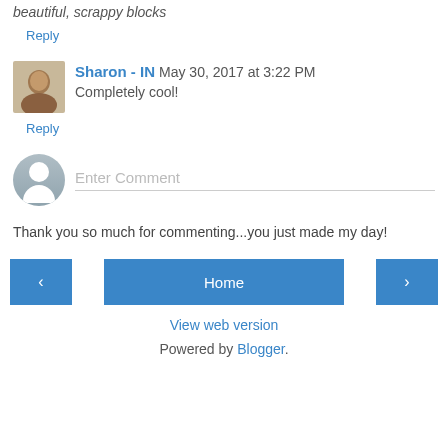beautiful, scrappy blocks
Reply
Sharon - IN  May 30, 2017 at 3:22 PM
Completely cool!
Reply
Enter Comment
Thank you so much for commenting...you just made my day!
Home
View web version
Powered by Blogger.